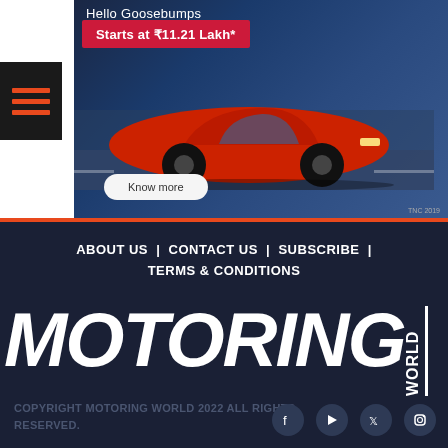[Figure (illustration): Hamburger menu icon with three orange horizontal lines on dark background]
[Figure (photo): Volkswagen red sedan car advertisement with text 'Hello Goosebumps', 'Starts at ₹11.21 Lakh*', and a 'Know more' button, set against a city background]
ABOUT US  |  CONTACT US  |  SUBSCRIBE  |  TERMS & CONDITIONS
MOTORING WORLD
COPYRIGHT MOTORING WORLD 2022 ALL RIGHTS RESERVED.
[Figure (illustration): Social media icons: Facebook, YouTube, Twitter, Instagram]